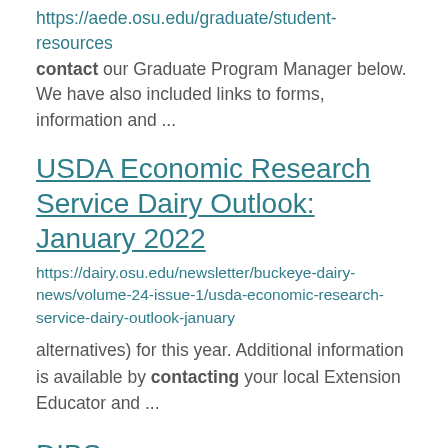https://aede.osu.edu/graduate/student-resources contact our Graduate Program Manager below. We have also included links to forms, information and ...
USDA Economic Research Service Dairy Outlook: January 2022
https://dairy.osu.edu/newsletter/buckeye-dairy-news/volume-24-issue-1/usda-economic-research-service-dairy-outlook-january
alternatives) for this year. Additional information is available by contacting your local Extension Educator and ...
DIBS
https://dairy.osu.edu/dibs